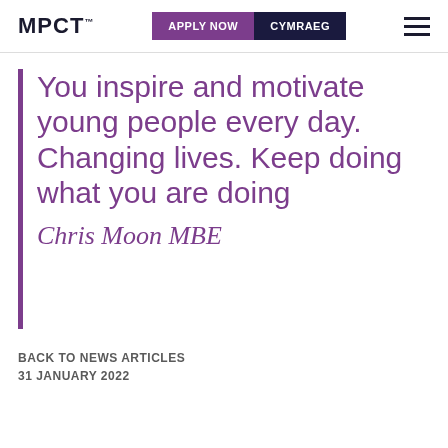MPCT | APPLY NOW | CYMRAEG
You inspire and motivate young people every day. Changing lives. Keep doing what you are doing
Chris Moon MBE
BACK TO NEWS ARTICLES
31 JANUARY 2022